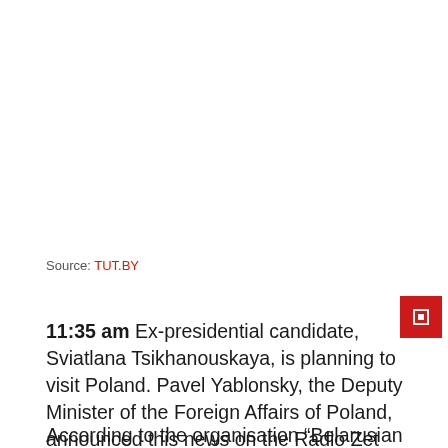Source: TUT.BY
11:35 am Ex-presidential candidate, Sviatlana Tsikhanouskaya, is planning to visit Poland. Pavel Yablonsky, the Deputy Minister of the Foreign Affairs of Poland, announced this news on the Radio Zet this morning.
According to the organisation “Belarusian House in Warsaw“,